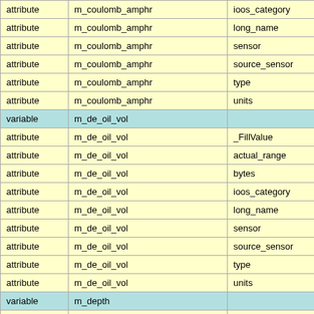|  |  |  |
| --- | --- | --- |
| attribute | m_coulomb_amphr | ioos_category |
| attribute | m_coulomb_amphr | long_name |
| attribute | m_coulomb_amphr | sensor |
| attribute | m_coulomb_amphr | source_sensor |
| attribute | m_coulomb_amphr | type |
| attribute | m_coulomb_amphr | units |
| variable | m_de_oil_vol |  |
| attribute | m_de_oil_vol | _FillValue |
| attribute | m_de_oil_vol | actual_range |
| attribute | m_de_oil_vol | bytes |
| attribute | m_de_oil_vol | ioos_category |
| attribute | m_de_oil_vol | long_name |
| attribute | m_de_oil_vol | sensor |
| attribute | m_de_oil_vol | source_sensor |
| attribute | m_de_oil_vol | type |
| attribute | m_de_oil_vol | units |
| variable | m_depth |  |
| attribute | m_depth | _FillValue |
| attribute | m_depth | actual_range |
| attribute | m_depth | axis |